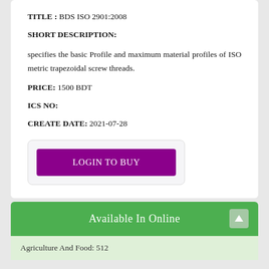TITLE : BDS ISO 2901:2008
SHORT DESCRIPTION:
specifies the basic Profile and maximum material profiles of ISO metric trapezoidal screw threads.
PRICE: 1500 BDT
ICS NO:
CREATE DATE: 2021-07-28
LOGIN TO BUY
Available In Online
Agriculture And Food: 512